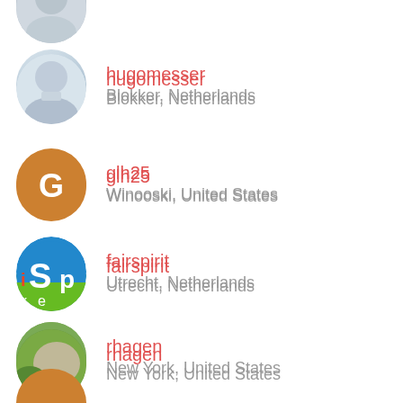hugomesser
Blokker, Netherlands
glh25
Winooski, United States
fairspirit
Utrecht, Netherlands
rhagen
New York, United States
davidt
San Francisco, United States